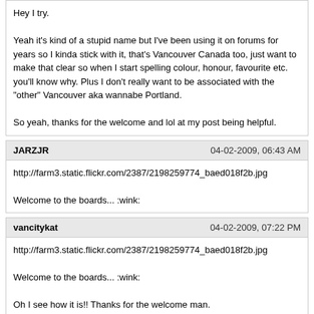Hey I try.

Yeah it's kind of a stupid name but I've been using it on forums for years so I kinda stick with it, that's Vancouver Canada too, just want to make that clear so when I start spelling colour, honour, favourite etc. you'll know why. Plus I don't really want to be associated with the "other" Vancouver aka wannabe Portland.

So yeah, thanks for the welcome and lol at my post being helpful.
JARZJR | 04-02-2009, 06:43 AM
http://farm3.static.flickr.com/2387/2198259774_baed018f2b.jpg

Welcome to the boards... :wink:
vancitykat | 04-02-2009, 07:22 PM
http://farm3.static.flickr.com/2387/2198259774_baed018f2b.jpg

Welcome to the boards... :wink:

Oh I see how it is!! Thanks for the welcome man.
albraggs | 04-02-2009, 09:16 PM
welcome,:smile:
Cowboy | 04-03-2009, 12:16 AM
Oh I see how it is!! Thanks for the welcome man.

See, I'm not the only one who makes fun of Canada. Now please elect the